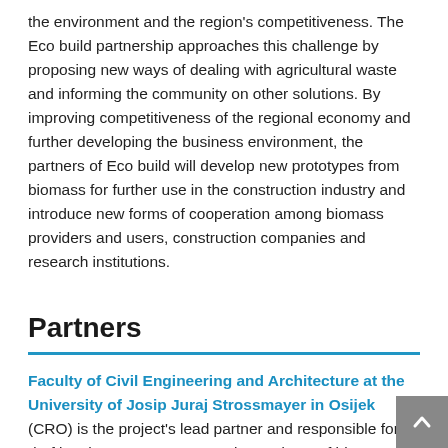the environment and the region's competitiveness. The Eco build partnership approaches this challenge by proposing new ways of dealing with agricultural waste and informing the community on other solutions. By improving competitiveness of the regional economy and further developing the business environment, the partners of Eco build will develop new prototypes from biomass for further use in the construction industry and introduce new forms of cooperation among biomass providers and users, construction companies and research institutions.
Partners
Faculty of Civil Engineering and Architecture at the University of Josip Juraj Strossmayer in Osijek (CRO) is the project's lead partner and responsible for drafting the report on preparation and use of biomass as building material, performing research of biomass and ashes in order to